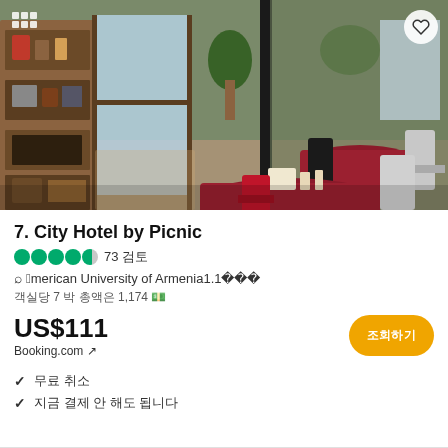[Figure (photo): Interior photo of City Hotel by Picnic showing a cozy dining/lounge area with red-cloth round tables, wooden shelving with decor items, plants, large windows, and wooden floors.]
7. City Hotel by Picnic
73 reviews - Location: American University of Armenia 1.1km
7 nights 1,174
US$111 - Booking.com ↗
✓ 무료 취소
✓ 지금 결제 안 해도 됩니다